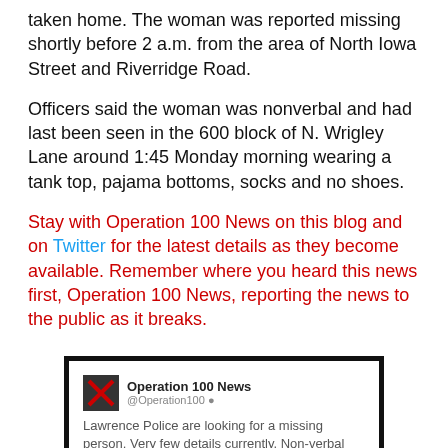taken home. The woman was reported missing shortly before 2 a.m. from the area of North Iowa Street and Riverridge Road.
Officers said the woman was nonverbal and had last been seen in the 600 block of N. Wrigley Lane around 1:45 Monday morning wearing a tank top, pajama bottoms, socks and no shoes.
Stay with Operation 100 News on this blog and on Twitter for the latest details as they become available. Remember where you heard this news first, Operation 100 News, reporting the news to the public as it breaks.
[Figure (screenshot): Embedded tweet from Operation 100 News (@Operation100) reading: 'Lawrence Police are looking for a missing person. Very few details currently. Non-verbal female, brown hair, no shoes.' timestamped 2:58 AM - 28 Jul 2014]
Media notification available